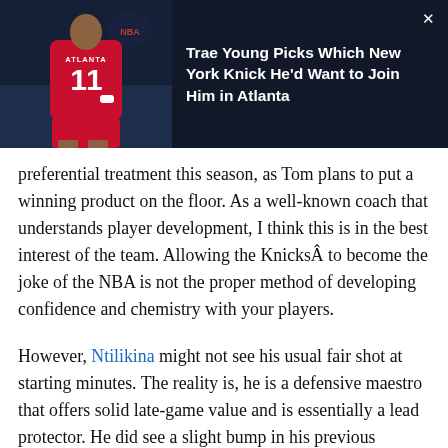[Figure (photo): Overlay banner showing an NBA basketball player wearing Atlanta Hawks jersey number 11 on a dark background, with article headline text beside it and a close button.]
Trae Young Picks Which New York Knick He'd Want to Join Him in Atlanta
preferential treatment this season, as Tom plans to put a winning product on the floor. As a well-known coach that understands player development, I think this is in the best interest of the team. Allowing the KnicksÂ to become the joke of the NBA is not the proper method of developing confidence and chemistry with your players.
However, Ntilikina might not see his usual fair shot at starting minutes. The reality is, he is a defensive maestro that offers solid late-game value and is essentially a lead protector. He did see a slight bump in his previous production, but was finishing with 30